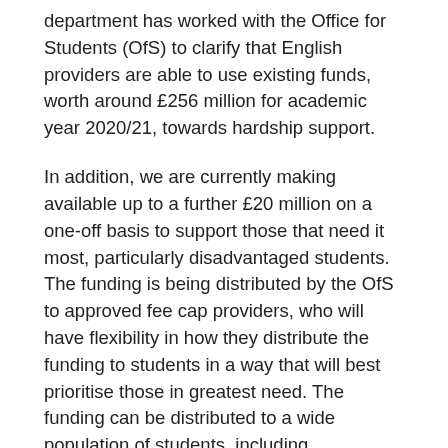department has worked with the Office for Students (OfS) to clarify that English providers are able to use existing funds, worth around £256 million for academic year 2020/21, towards hardship support.
In addition, we are currently making available up to a further £20 million on a one-off basis to support those that need it most, particularly disadvantaged students. The funding is being distributed by the OfS to approved fee cap providers, who will have flexibility in how they distribute the funding to students in a way that will best prioritise those in greatest need. The funding can be distributed to a wide population of students, including postgraduates research students.
Answered by